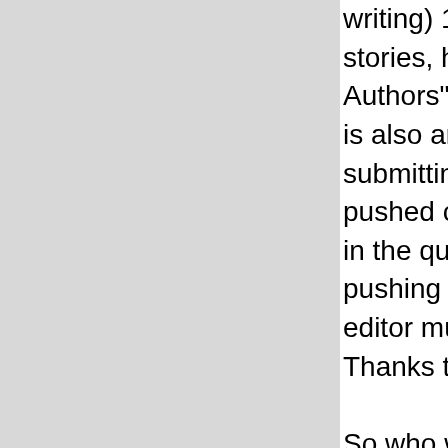writing) 18,731 comments. Oh, and as for submitting stories, he is unfortunately omitted from the "Most Active Authors" list on the SoylentNews Hall of Fame because he is also an editor. So, please join me in thanking takyon for submitting 5,852 stories! Oh! And as an editor, he has also pushed out 1,350 stories! Whenever I see one of his subs in the queue, I know it only needs a quick review before pushing it out to the story queue. He makes my job as an editor much easier and makes SoylentNews look good! Thanks takyon!

So who was our runner-up with comment number 999,999? Well, he wasn't just spinning his tires when he posted this comment. None other than our also-prolific Runaway1956! He is no slouch when it comes to posting comments, either, as he has posted 18,483 of them so far. He has taken an active part in comment moderation, too with 2,968 moderations of which 78% were upmods. As if that were not enough, he is also an active contributor to our Folding@Home team, sitting currently at 3rd place and making a hard run for 2nd